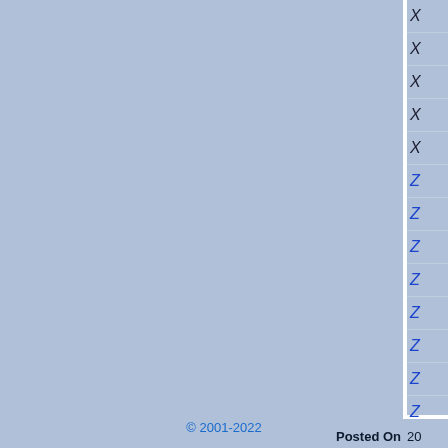| X |
| X |
| X |
| X |
| X |
| Z |
| Z |
| Z |
| Z |
| Z |
| Z |
| Z |
| Z |
| Z |
| Posted On | 20 |
© 2001-2022